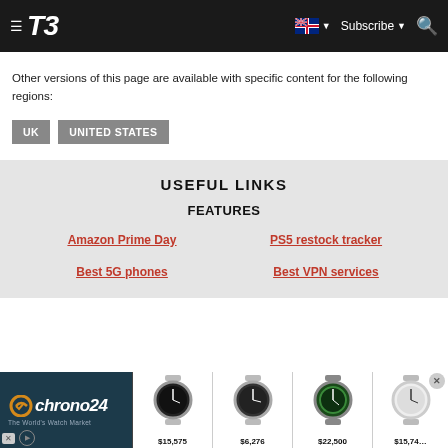T3 — Subscribe — Search
Other versions of this page are available with specific content for the following regions:
UK
UNITED STATES
USEFUL LINKS
FEATURES
Amazon Prime Day
PS5 restock tracker
Best 5G phones
Best VPN services
[Figure (screenshot): chrono24 advertisement banner with watch listings showing prices $15,575, $6,276, $22,500, $15,745]